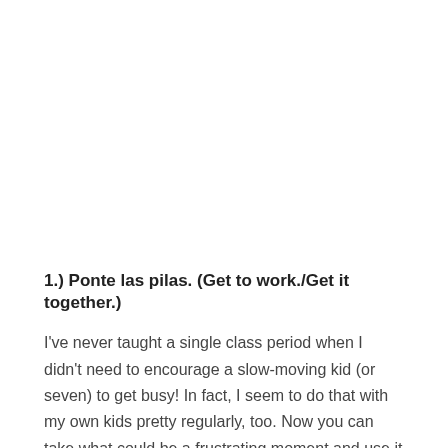1.) Ponte las pilas. (Get to work./Get it together.)
I've never taught a single class period when I didn't need to encourage a slow-moving kid (or seven) to get busy! In fact, I seem to do that with my own kids pretty regularly, too. Now you can take what could be a frustrating moment and use it to instill the value of hard work with a